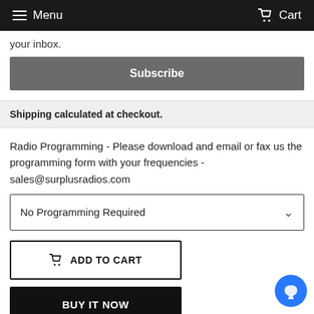Menu  Cart
your inbox.
Subscribe
Shipping calculated at checkout.
Radio Programming - Please download and email or fax us the programming form with your frequencies - sales@surplusradios.com
No Programming Required
ADD TO CART
BUY IT NOW